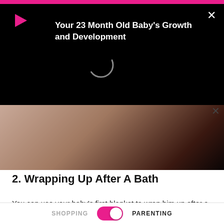[Figure (screenshot): Video overlay on dark background showing a play button (red triangle) on left, white X close button top right, and video title 'Your 23 Month Old Baby's Growth and Development' in white bold text. A loading spinner circle is visible on the dark screen.]
[Figure (photo): Photo of a baby or person wrapped in soft light-colored blanket/fabric, partially visible, with dark hair visible. A small X close button is in the upper right corner of the photo.]
2. Wrapping Up After A Bath
You can use your baby's first blanket to wrap him up after a bath. The soft and familiar fabric of the receiving blanket will keep your little one comfortable.
3. As a Breastfeeding Cover Up
SHOPPING   PARENTING